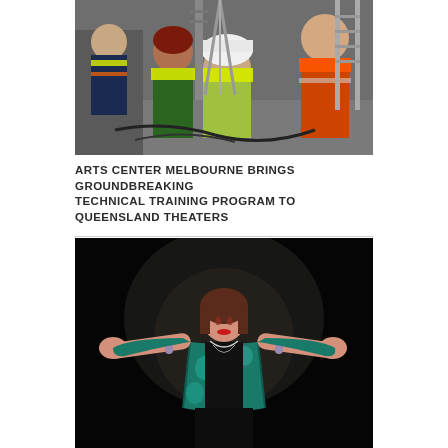[Figure (photo): Group of people in high-visibility vests and hard hats working on equipment in an industrial or theater setting. Technical training scene.]
ARTS CENTER MELBOURNE BRINGS GROUNDBREAKING TECHNICAL TRAINING PROGRAM TO QUEENSLAND THEATERS
[Figure (photo): A woman in a teal patterned kimono-style garment stands on a dark stage with arms outstretched wide, facing the camera. Theatrical performance photo.]